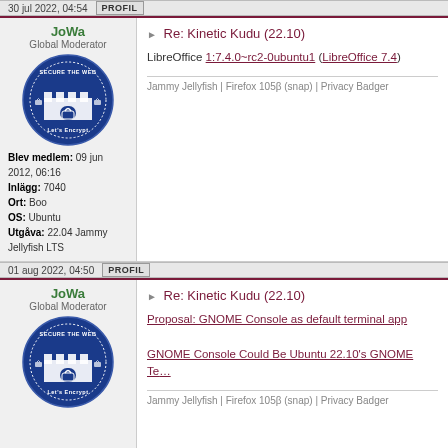30 jul 2022, 04:54 | PROFIL
JoWa
Global Moderator
[Figure (logo): Circular badge logo with text SECURE THE WEB and LET'S ENCRYPT with castle graphic on dark blue background]
Blev medlem: 09 jun 2012, 06:16
Inlägg: 7040
Ort: Boo
OS: Ubuntu
Utgåva: 22.04 Jammy Jellyfish LTS
Re: Kinetic Kudu (22.10)
LibreOffice 1:7.4.0~rc2-0ubuntu1 (LibreOffice 7.4)
Jammy Jellyfish | Firefox 105β (snap) | Privacy Badger
01 aug 2022, 04:50 | PROFIL
JoWa
Global Moderator
[Figure (logo): Circular badge logo with text SECURE THE WEB and LET'S ENCRYPT with castle graphic on dark blue background]
Re: Kinetic Kudu (22.10)
Proposal: GNOME Console as default terminal app
GNOME Console Could Be Ubuntu 22.10's GNOME Terminal Replacement
Jammy Jellyfish | Firefox 105β (snap) | Privacy Badger